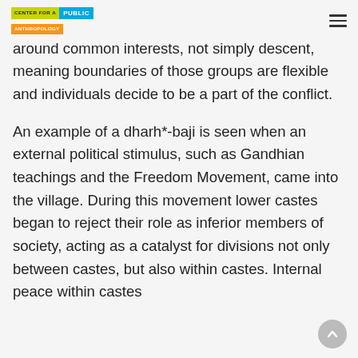Center for a Public Anthropology
on conflicts between groups that are centered around common interests, not simply descent, meaning boundaries of those groups are flexible and individuals decide to be a part of the conflict.
An example of a dharh*-baji is seen when an external political stimulus, such as Gandhian teachings and the Freedom Movement, came into the village. During this movement lower castes began to reject their role as inferior members of society, acting as a catalyst for divisions not only between castes, but also within castes. Internal peace within castes